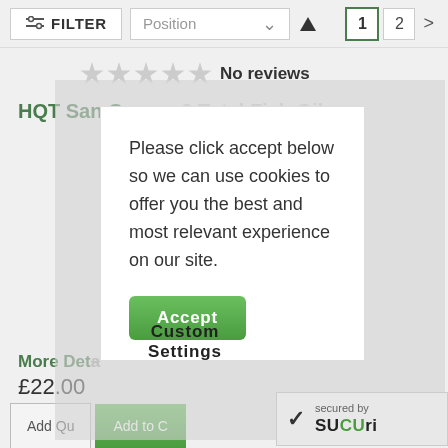[Figure (screenshot): Website toolbar with FILTER button, Position dropdown with chevron, sort arrow, and pagination showing pages 1 and 2 with a next arrow]
No reviews
HQT San Omega 3 Total Fish Oil
Please click accept below so we can use cookies to offer you the best and most relevant experience on our site.
Accept
Custom Settings
More Deta
£22.00
Add Qu
Add to C
secured by SUCURI